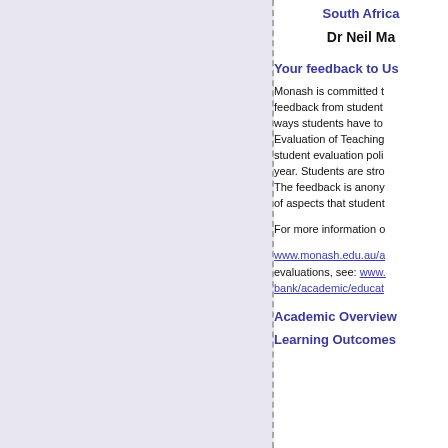South Africa
Dr Neil Ma
Your feedback to Us
Monash is committed to feedback from students ways students have to Evaluation of Teaching student evaluation poli year. Students are stro The feedback is anony of aspects that student
For more information c
www.monash.edu.au/a evaluations, see: www bank/academic/educat
Academic Overview
Learning Outcomes